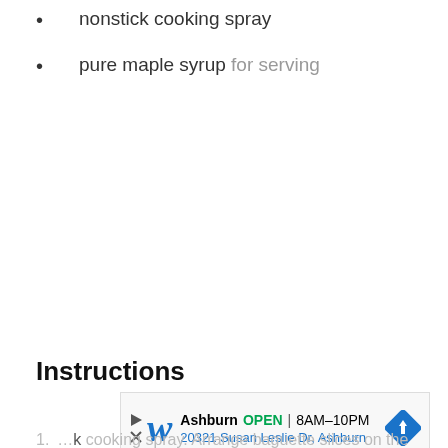nonstick cooking spray
pure maple syrup for serving
Instructions
[Figure (other): Advertisement banner for Walgreens: Ashburn OPEN 8AM-10PM, 20321 Susan Leslie Dr, Ashburn with navigation icon]
1. ...k cooking spray. Arrange baguette slices on the